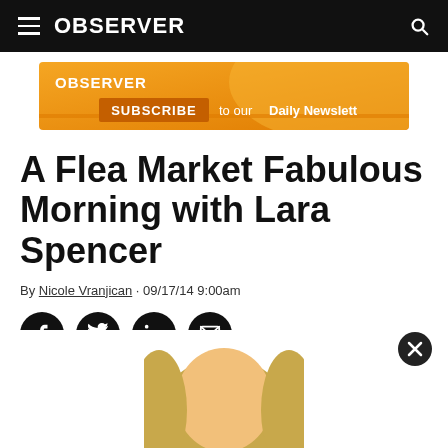OBSERVER
[Figure (infographic): OBSERVER Subscribe to our Daily Newsletter advertisement banner with orange gradient background]
A Flea Market Fabulous Morning with Lara Spencer
By Nicole Vranjican · 09/17/14 9:00am
[Figure (infographic): Social sharing icons: Facebook, Twitter, LinkedIn, Email — white icons on black circles]
[Figure (photo): Photo of Lara Spencer, a blonde woman, partially visible at the bottom of the page]